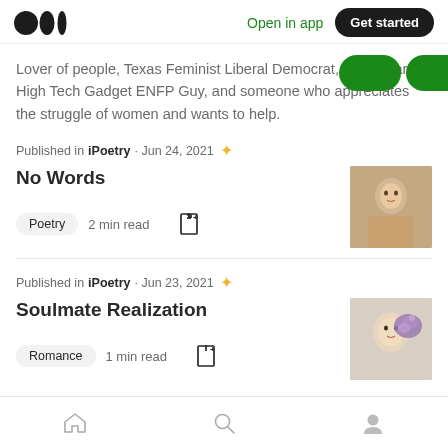Open in app | Get started
Lover of people, Texas Feminist Liberal Democrat, Horse Farm, High Tech Gadget ENFP Guy, and someone who appreciates the struggle of women and wants to help.
Published in iPoetry · Jun 24, 2021 ★
No Words
Poetry  2 min read
Published in iPoetry · Jun 23, 2021 ★
Soulmate Realization
Romance  1 min read
Home | Search | Profile